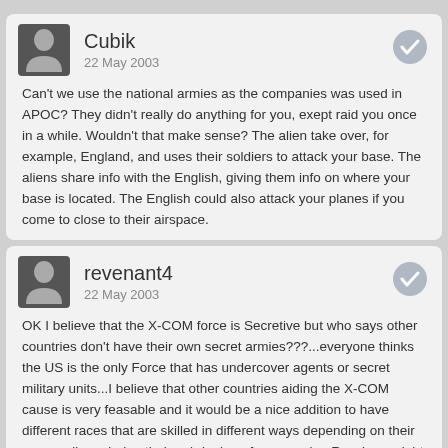Cubik
22 May 2003
Can't we use the national armies as the companies was used in APOC? They didn't really do anything for you, exept raid you once in a while. Wouldn't that make sense? The alien take over, for example, England, and uses their soldiers to attack your base. The aliens share info with the English, giving them info on where your base is located. The English could also attack your planes if you come to close to their airspace.
revenant4
22 May 2003
OK I believe that the X-COM force is Secretive but who says other countries don't have their own secret armies???...everyone thinks the US is the only Force that has undercover agents or secret military units...I believe that other countries aiding the X-COM cause is very feasable and it would be a nice addition to have different races that are skilled in different ways depending on their surroundings during their upbringing...for example...Russians might have advantages in a snowy atmosphere...teh US might have an advantage in a Plains are...the list could go on and on...just a thought.